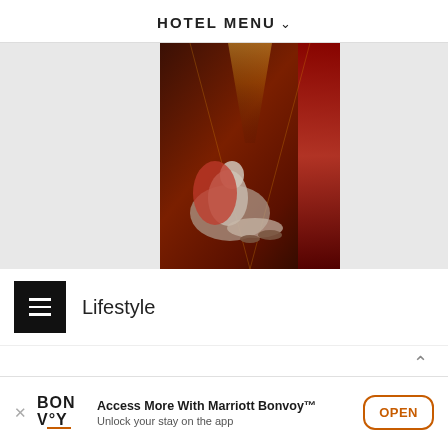HOTEL MENU
[Figure (photo): A woman in a red cape sitting on the floor of a hotel corridor with red ambient lighting and warm golden ceiling lights receding into the distance]
Lifestyle
Access More With Marriott Bonvoy™ Unlock your stay on the app OPEN